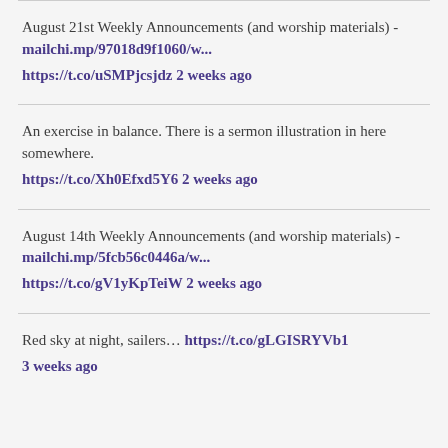August 21st Weekly Announcements (and worship materials) - mailchi.mp/97018d9f1060/w... https://t.co/uSMPjcsjdz 2 weeks ago
An exercise in balance. There is a sermon illustration in here somewhere. https://t.co/Xh0Efxd5Y6 2 weeks ago
August 14th Weekly Announcements (and worship materials) - mailchi.mp/5fcb56c0446a/w... https://t.co/gV1yKpTeiW 2 weeks ago
Red sky at night, sailers... https://t.co/gLGISRYVb1 3 weeks ago